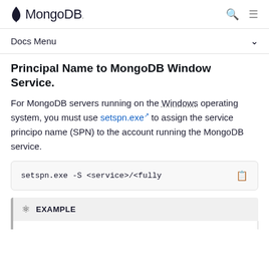MongoDB
Docs Menu
Principal Name to MongoDB Windows Service.
For MongoDB servers running on the Windows operating system, you must use setspn.exe to assign the service principal name (SPN) to the account running the MongoDB service.
EXAMPLE